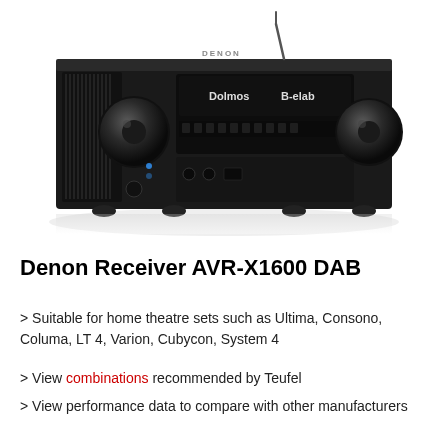[Figure (photo): Denon AVR-X1600 DAB AV receiver, black unit with two large knobs, display panel showing 'Dolmos' and 'B-elab', viewed from front-right angle on white background with reflection]
Denon Receiver AVR-X1600 DAB
> Suitable for home theatre sets such as Ultima, Consono, Columa, LT 4, Varion, Cubycon, System 4
> View combinations recommended by Teufel
> View performance data to compare with other manufacturers